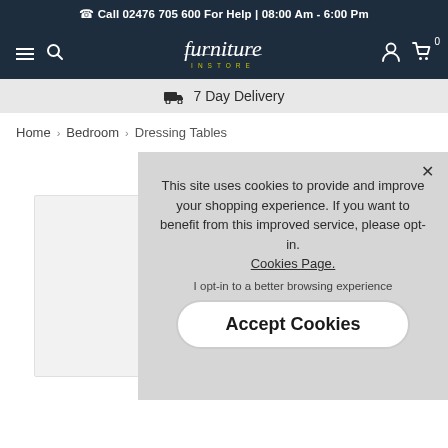Call 02476 705 600 For Help | 08:00 Am - 6:00 Pm
[Figure (logo): Furniture Instore logo with italic script font and yellow INSTORE subtitle]
7 Day Delivery
Home › Bedroom › Dressing Tables
[Figure (photo): Partial view of a white dressing table product image on the left side]
This site uses cookies to provide and improve your shopping experience. If you want to benefit from this improved service, please opt-in. Cookies Page.
I opt-in to a better browsing experience
Accept Cookies